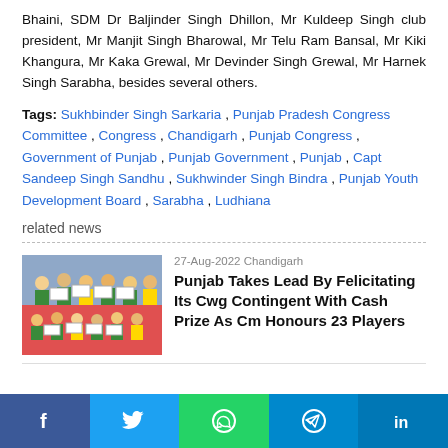Bhaini, SDM Dr Baljinder Singh Dhillon, Mr Kuldeep Singh club president, Mr Manjit Singh Bharowal, Mr Telu Ram Bansal, Mr Kiki Khangura, Mr Kaka Grewal, Mr Devinder Singh Grewal, Mr Harnek Singh Sarabha, besides several others.
Tags: Sukhbinder Singh Sarkaria , Punjab Pradesh Congress Committee , Congress , Chandigarh , Punjab Congress , Government of Punjab , Punjab Government , Punjab , Capt Sandeep Singh Sandhu , Sukhwinder Singh Bindra , Punjab Youth Development Board , Sarabha , Ludhiana
related news
[Figure (photo): Group photo of people holding certificates/cheques, related to CWG contingent felicitation]
27-Aug-2022 Chandigarh
Punjab Takes Lead By Felicitating Its Cwg Contingent With Cash Prize As Cm Honours 23 Players